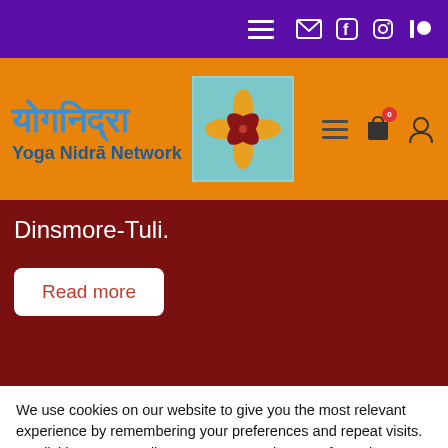Yoga Nidrā Network – navigation bar with menu, email, facebook, instagram, patreon icons
[Figure (logo): Yoga Nidrā Network logo: Devanagari text and English subtitle with decorative flower emblem on orange background]
Dinsmore-Tuli.
Read more
We use cookies on our website to give you the most relevant experience by remembering your preferences and repeat visits. By clicking "Accept All", you consent to the use of ALL the cookies. However, you may visit "Cookie Settings" to provide a controlled consent.
Cookie Settings
Accept All